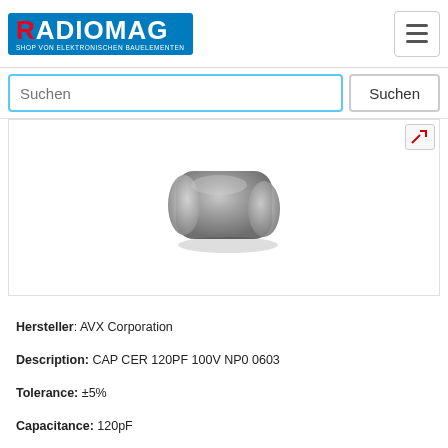RADIOMAG - SHOP VON ELEKTRONISCHEN BAUELEMENTEN
[Figure (photo): Ceramic capacitor SMD 0603 package, silver/grey color with metallic end caps, photographed on white background]
Hersteller: AVX Corporation
Description: CAP CER 120PF 100V NP0 0603
Tolerance: ±5%
Capacitance: 120pF
Thickness (Max): 0.035" (0.90mm)
Size / Dimension: 0.063" L x 0.032" W (1.60mm x 0.81mm)
Package / Case: 0603 (1608 Metric)
Applications: General Purpose
Operating Temperature: -55°C ~ 125°C